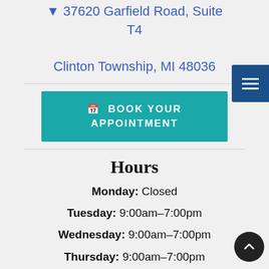37620 Garfield Road, Suite T4
Clinton Township, MI 48036
BOOK YOUR APPOINTMENT
Hours
Monday: Closed
Tuesday: 9:00am–7:00pm
Wednesday: 9:00am–7:00pm
Thursday: 9:00am–7:00pm